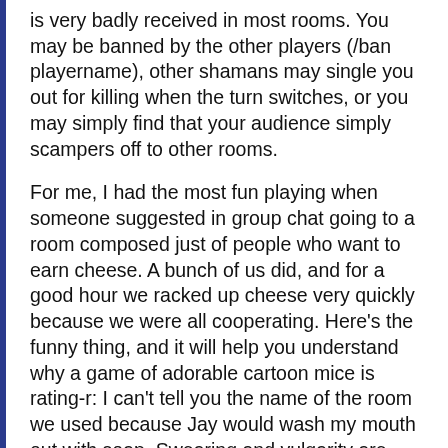is very badly received in most rooms. You may be banned by the other players (/ban playername), other shamans may single you out for killing when the turn switches, or you may simply find that your audience simply scampers off to other rooms.
For me, I had the most fun playing when someone suggested in group chat going to a room composed just of people who want to earn cheese. A bunch of us did, and for a good hour we racked up cheese very quickly because we were all cooperating. Here's the funny thing, and it will help you understand why a game of adorable cartoon mice is rating-r: I can't tell you the name of the room we used because Jay would wash my mouth out with soap. Swearing and vulgarity are near constant in the chat boxes of Transformice. So are memes: when some epic fail necessitates becoming an hero, the most frequent shout is